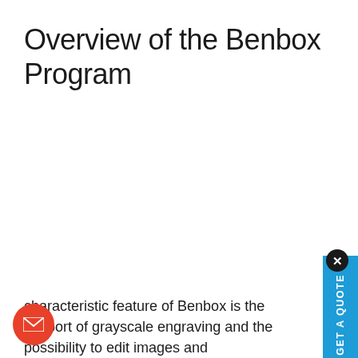Overview of the Benbox Program
characteristic feature of Benbox is the support of grayscale engraving and the possibility to edit images and